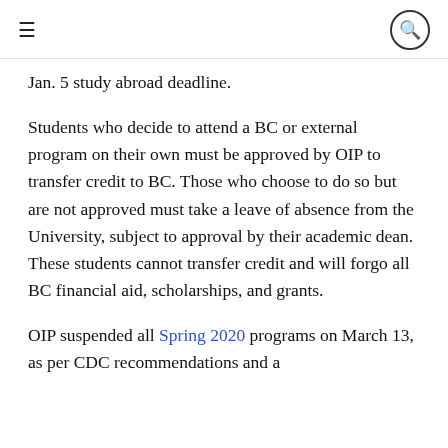≡  🔍
Jan. 5 study abroad deadline.
Students who decide to attend a BC or external program on their own must be approved by OIP to transfer credit to BC. Those who choose to do so but are not approved must take a leave of absence from the University, subject to approval by their academic dean. These students cannot transfer credit and will forgo all BC financial aid, scholarships, and grants.
OIP suspended all Spring 2020 programs on March 13, as per CDC recommendations and a